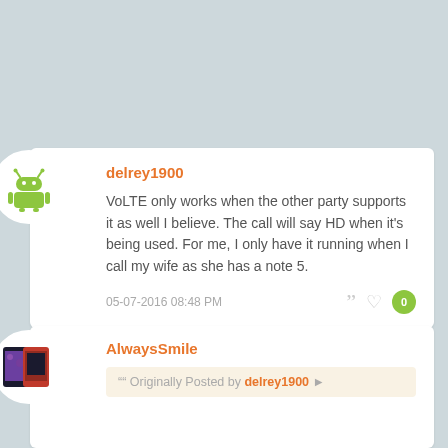[Figure (screenshot): Forum thread screenshot showing two posts on a blue-grey background]
delrey1900
VoLTE only works when the other party supports it as well I believe. The call will say HD when it's being used. For me, I only have it running when I call my wife as she has a note 5.
05-07-2016 08:48 PM
AlwaysSmile
““ Originally Posted by delrey1900 ►